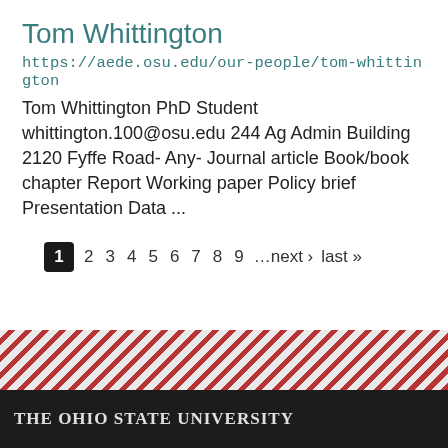Tom Whittington
https://aede.osu.edu/our-people/tom-whittington
Tom Whittington PhD Student whittington.100@osu.edu 244 Ag Admin Building 2120 Fyffe Road- Any- Journal article Book/book chapter Report Working paper Policy brief Presentation Data ...
1 2 3 4 5 6 7 8 9 …next › last »
The Ohio State University